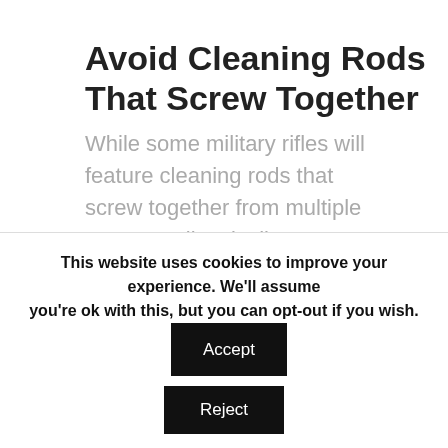Avoid Cleaning Rods That Screw Together
While some military rifles will feature cleaning rods that screw together from multiple parts, you'll typically want to avoid these because they won't always run straight down the barrel.
If a cleaning rod hits the side of a rifle's barrel, it can damage the
This website uses cookies to improve your experience. We'll assume you're ok with this, but you can opt-out if you wish.
Accept
Reject